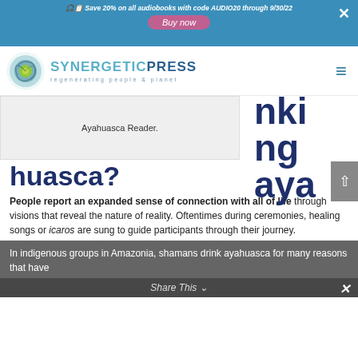Save 20% on all audiobooks with code AUDIO20 through 9/30/22 | Buy now
[Figure (logo): Synergetic Press logo with nautilus shell circle and text 'SYNERGETIC PRESS regenerating people & planet']
Ayahuasca Reader.
nki
ng
aya
huasca?
People report an expanded sense of connection with all of life through visions that reveal the nature of reality. Oftentimes during ceremonies, healing songs or icaros are sung to guide participants through their journey.
In indigenous groups in Amazonia, shamans drink ayahuasca for many reasons that have